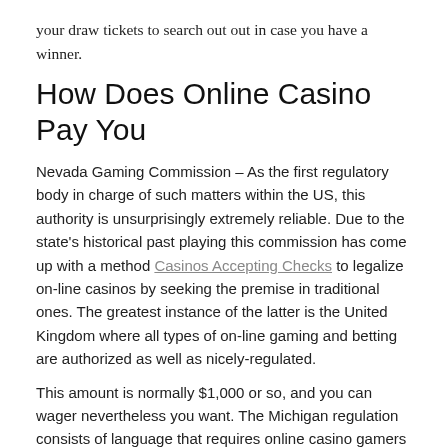your draw tickets to search out out in case you have a winner.
How Does Online Casino Pay You
Nevada Gaming Commission – As the first regulatory body in charge of such matters within the US, this authority is unsurprisingly extremely reliable. Due to the state's historical past playing this commission has come up with a method Casinos Accepting Checks to legalize on-line casinos by seeking the premise in traditional ones. The greatest instance of the latter is the United Kingdom where all types of on-line gaming and betting are authorized as well as nicely-regulated.
This amount is normally $1,000 or so, and you can wager nevertheless you want. The Michigan regulation consists of language that requires online casino gamers to be within the state when they play. You don't have to be a resident to sign up for an account, but you must be inside state strains if you do decide to play. You can convert loyalty factors into free play at Michigan online casinos. Plus, for the reason that online casinos are all tied to land-based properties in the state, you need to have the ability to convert your points into numerous